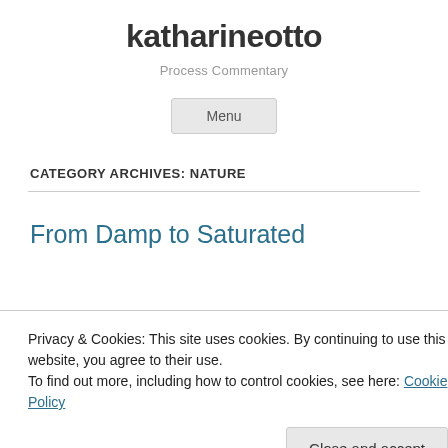katharineotto
Process Commentary
Menu
CATEGORY ARCHIVES: NATURE
From Damp to Saturated
Privacy & Cookies: This site uses cookies. By continuing to use this website, you agree to their use.
To find out more, including how to control cookies, see here: Cookie Policy
Close and accept